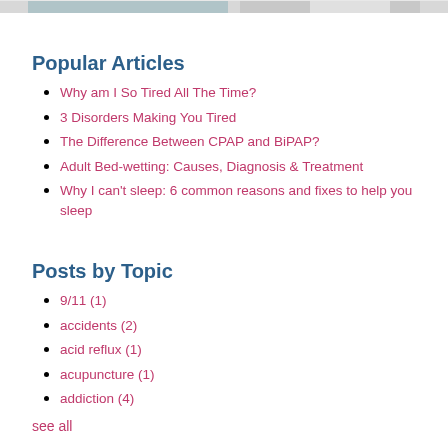[Figure (photo): Partial top image strip showing a person and a signature]
Popular Articles
Why am I So Tired All The Time?
3 Disorders Making You Tired
The Difference Between CPAP and BiPAP?
Adult Bed-wetting: Causes, Diagnosis & Treatment
Why I can't sleep: 6 common reasons and fixes to help you sleep
Posts by Topic
9/11 (1)
accidents (2)
acid reflux (1)
acupuncture (1)
addiction (4)
see all